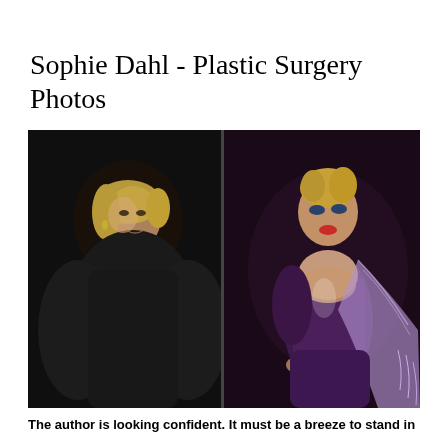Sophie Dahl - Plastic Surgery Photos
[Figure (photo): Side-by-side comparison photos of Sophie Dahl. Left: woman with short blonde hair wearing a black top against a dark background, looking confident. Right: woman with blonde updo wearing a purple latex bustier outfit with a sparkling lavender shawl, posed with hands on hips.]
The author is looking confident. It must be a breeze to stand in